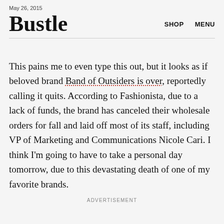May 26, 2015
Bustle
SHOP   MENU
This pains me to even type this out, but it looks as if beloved brand Band of Outsiders is over, reportedly calling it quits. According to Fashionista, due to a lack of funds, the brand has canceled their wholesale orders for fall and laid off most of its staff, including VP of Marketing and Communications Nicole Cari. I think I'm going to have to take a personal day tomorrow, due to this devastating death of one of my favorite brands.
ADVERTISEMENT